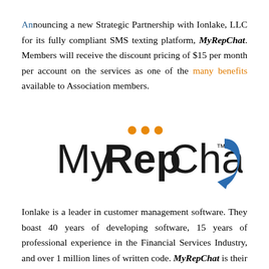Announcing a new Strategic Partnership with Ionlake, LLC for its fully compliant SMS texting platform, MyRepChat. Members will receive the discount pricing of $15 per month per account on the services as one of the many benefits available to Association members.
[Figure (logo): MyRepChat logo: text 'MyRepChat' with orange three-dot ellipsis above, and a blue curved arrow/chat bubble icon to the right]
Ionlake is a leader in customer management software. They boast 40 years of developing software, 15 years of professional experience in the Financial Services Industry, and over 1 million lines of written code. MyRepChat is their